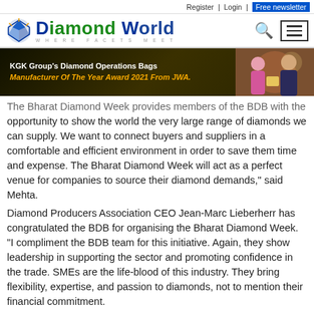Register | Login | Free newsletter
[Figure (logo): Diamond World logo with gem icon, blue bold text 'DiamondWorld' and tagline 'WHERE FACETS MEET', with search icon and hamburger menu icon]
[Figure (photo): KGK Group banner: dark golden background with text 'KGK Group's Diamond Operations Bags Manufacturer Of The Year Award 2021 From JWA.' and two people (woman in pink, man in suit) receiving award]
The Bharat Diamond Week provides members of the BDB with the opportunity to show the world the very large range of diamonds we can supply. We want to connect buyers and suppliers in a comfortable and efficient environment in order to save them time and expense. The Bharat Diamond Week will act as a perfect venue for companies to source their diamond demands," said Mehta.
Diamond Producers Association CEO Jean-Marc Lieberherr has congratulated the BDB for organising the Bharat Diamond Week. "I compliment the BDB team for this initiative. Again, they show leadership in supporting the sector and promoting confidence in the trade. SMEs are the life-blood of this industry. They bring flexibility, expertise, and passion to diamonds, not to mention their financial commitment.
"The Bharat Diamond Week is an important initiative in support of